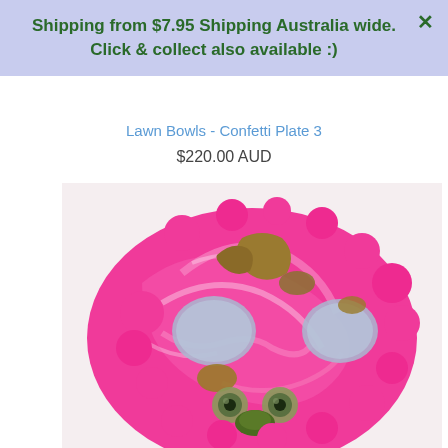Shipping from $7.95 Shipping Australia wide. Click & collect also available :)
Lawn Bowls - Confetti Plate 3
$220.00 AUD
[Figure (photo): Colorful handmade ceramic or glass plate shaped like a monster/creature face, predominantly hot pink with swirling white patterns, featuring blue-grey patches, olive/brown accents, and two round eyes with green nose detail, photographed from above on a white background.]